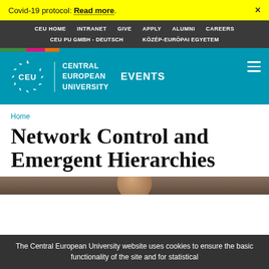Covid-19 protocol: Read more.
CEU HOME  INTRANET  GIVE  APPLY  ALUMNI  CAREERS  CEU PU GMBH - DEUTSCH  KÖZÉP-EURÓPAI EGYETEM
[Figure (logo): CEU Central European University logo with EVENTS label on teal background]
Home
Network Control and Emergent Hierarchies
[Figure (photo): Partial photo of a person's head/face]
The Central European University website uses cookies to ensure the basic functionality of the site and for statistical